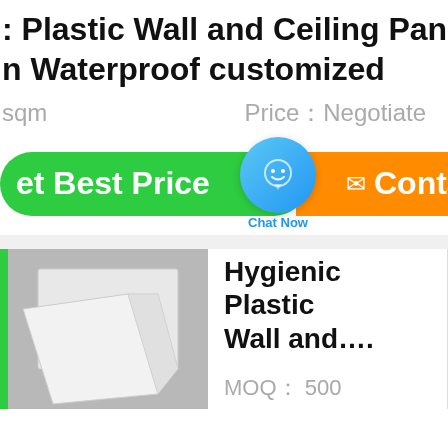Plastic Wall and Ceiling Panel … Waterproof customized
sqm   Price：Negotiate
Get Best Price   Chat Now   Contact
[Figure (photo): White plastic wall and ceiling panels shown at an angle on grey background]
Hygienic Plastic Wall and….
MOQ： 500